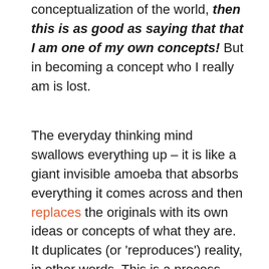conceptualization of the world, then this is as good as saying that that I am one of my own concepts! But in becoming a concept who I really am is lost.
The everyday thinking mind swallows everything up – it is like a giant invisible amoeba that absorbs everything it comes across and then replaces the originals with its own ideas or concepts of what they are. It duplicates (or 'reproduces') reality, in other words. This is a process that we never see happening because if we're convinced that our idea about something is the same thing as the